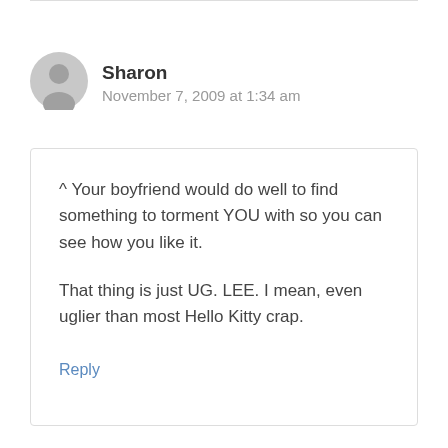[Figure (illustration): Generic user avatar icon — circular gray silhouette of a person's head and shoulders]
Sharon
November 7, 2009 at 1:34 am
^ Your boyfriend would do well to find something to torment YOU with so you can see how you like it.

That thing is just UG. LEE. I mean, even uglier than most Hello Kitty crap.
Reply